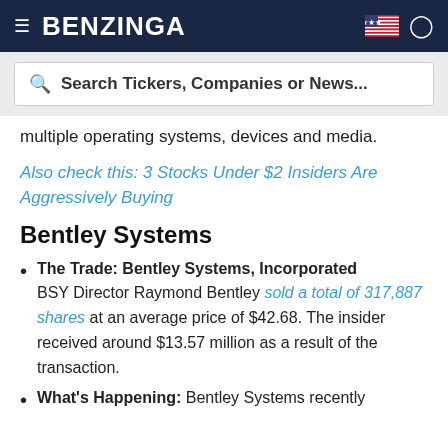BENZINGA
multiple operating systems, devices and media.
Also check this: 3 Stocks Under $2 Insiders Are Aggressively Buying
Bentley Systems
The Trade: Bentley Systems, Incorporated BSY Director Raymond Bentley sold a total of 317,887 shares at an average price of $42.68. The insider received around $13.57 million as a result of the transaction.
What's Happening: Bentley Systems recently